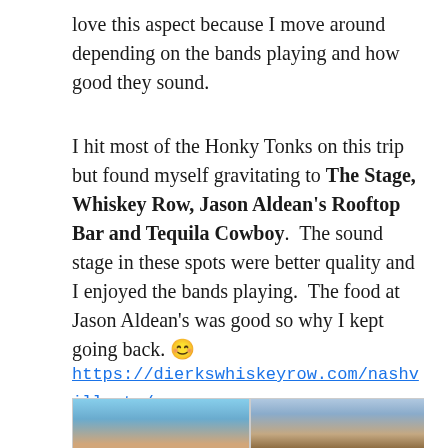love this aspect because I move around depending on the bands playing and how good they sound.
I hit most of the Honky Tonks on this trip but found myself gravitating to The Stage, Whiskey Row, Jason Aldean's Rooftop Bar and Tequila Cowboy.  The sound stage in these spots were better quality and I enjoyed the bands playing.  The food at Jason Aldean's was good so why I kept going back. 😊
https://dierkswhiskeyrow.com/nashville-tn/
[Figure (photo): Two photos side by side at the bottom of the page: left photo shows a cityscape with blue buildings and sky, right photo shows a sign among bare trees.]